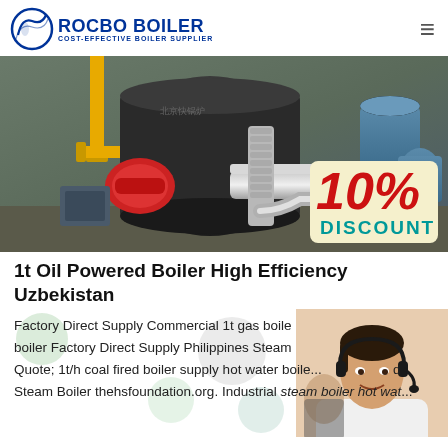ROCBO BOILER — COST-EFFECTIVE BOILER SUPPLIER
[Figure (photo): Industrial boiler equipment in a factory setting with yellow pipes, a large black cylindrical boiler, a red burner unit, and blue pressure tanks. A 10% DISCOUNT badge overlaid in the bottom right.]
1t Oil Powered Boiler High Efficiency Uzbekistan
Factory Direct Supply Commercial 1t gas boiler boiler Factory Direct Supply Philippines Steam Quote; 1t/h coal fired boiler supply hot water boile... d Steam Boiler thehsfoundation.org. Industrial steam boiler hot wat...